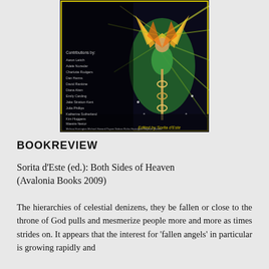[Figure (illustration): Book cover of 'Both Sides of Heaven' edited by Sorita d'Este. Features a colorful painting of a fiery angel with golden wings on a dark background. Left side lists contributions by: Aaron Leitch, Adele Nozedar, Charlotte Rodgers, Dan Harms, David Rankine, Diana Alam, Emily Carding, Jake Stratton-Kent, Julia Phillips, Katherine Sutherland, Kim Huggens, Maestre Nestor, Melissa Harrington, Michael Howard, Payam Nabarz, Rufus Harrington, Stephen Skinner. Bottom right reads 'Edited by Sorita d'Este' in gold text.]
BOOKREVIEW
Sorita d'Este (ed.): Both Sides of Heaven (Avalonia Books 2009)
The hierarchies of celestial denizens, they be fallen or close to the throne of God pulls and mesmerize people more and more as times strides on. It appears that the interest for 'fallen angels' in particular is growing rapidly and